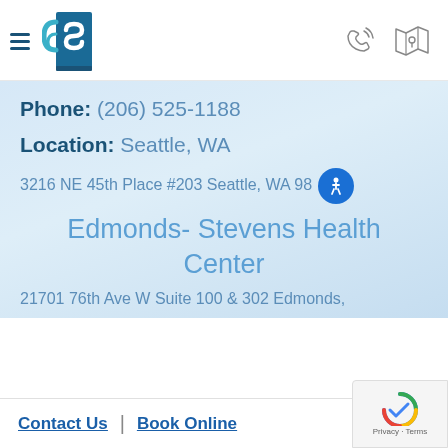[Figure (logo): Website header with hamburger menu icon, stylized 'S' logo mark in blue and teal, and phone/map icons on the right]
Phone: (206) 525-1188
Location: Seattle, WA
3216 NE 45th Place #203 Seattle, WA 98
Edmonds- Stevens Health Center
21701 76th Ave W Suite 100 & 302 Edmonds,
Contact Us | Book Online